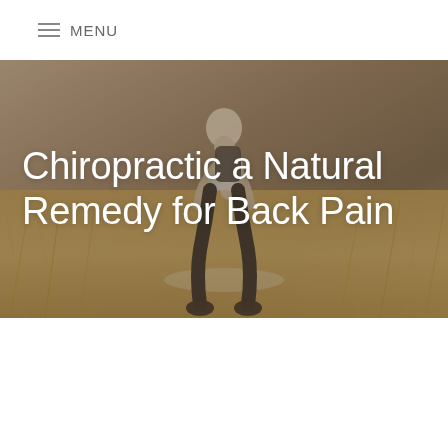≡ MENU
[Figure (photo): Person bent over holding their lower back in pain, standing on a dry grassy outdoor path, with a semi-transparent dark overlay. White large text overlaid reads: Chiropractic a Natural Remedy for Back Pain]
Chiropractic a Natural Remedy for Back Pain